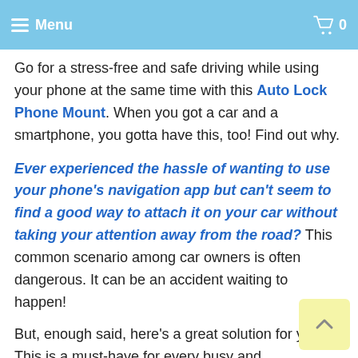Menu  0
Go for a stress-free and safe driving while using your phone at the same time with this Auto Lock Phone Mount. When you got a car and a smartphone, you gotta have this, too! Find out why.
Ever experienced the hassle of wanting to use your phone's navigation app but can't seem to find a good way to attach it on your car without taking your attention away from the road? This common scenario among car owners is often dangerous. It can be an accident waiting to happen!
But, enough said, here's a great solution for you! This is a must-have for every busy and